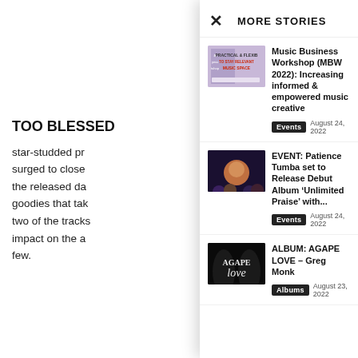TOO BLESSED
star-studded pr... surged to close ... the released da... goodies that tak... two of the tracks... impact on the a... few.
In Jesse10s 's c... body of work sa... testimonies of th... went through a global pandemic, I was hit with depression, anxiety, & the people I trusted most turning against me. Through it all, one thing
MORE STORIES
[Figure (photo): Music Business Workshop promotional image with text PRACTICAL & FLEXIBLE TO STAY RELEVANT MUSIC SPACE]
Music Business Workshop (MBW 2022): Increasing informed & empowered music creative
Events   August 24, 2022
[Figure (photo): EVENT promotional image for Patience Tumba Unlimited Praise album with group of people]
EVENT: Patience Tumba set to Release Debut Album ‘Unlimited Praise’ with...
Events   August 24, 2022
[Figure (photo): ALBUM: AGAPE LOVE - Greg Monk album cover with dark background and stylized text]
ALBUM: AGAPE LOVE – Greg Monk
Albums   August 23, 2022